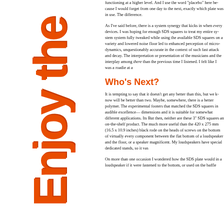[Figure (illustration): Vertical orange bold text reading 'Enjoy the' rotated sideways along the left margin]
functioning at a higher level. And I use the word "placebo" here be- would forget from one day to the next, exactly which plate was in u- difference.
As I've said before, there is a system synergy that kicks in when eve- devices. I was hoping for enough SDS squares to treat my entire sy- system fully tweaked while using the available SDS squares on a va- and lowered noise floor led to enhanced perception of micro-dynam- unquestionably accurate in the context of such fast attack and decay- interpretation or presentation of the musicians and the interplay am- there than the previous time I listened. I felt like I was a roadie at a
Who's Next?
It is tempting to say that it doesn't get any better than this, but we k- will be better than two. Maybe, somewhere, there is a better polyme- experimental footers that matched the SDS squares in audible excel- dimensions and it is suitable for somewhat different applications. It- But then, neither are these 3" SDS squares an on-the-shelf product.- much more useful than the 420 x 275 mm (16.5 x 10.9 inches) blac- rode on the heads of screws on the bottom of virtually every compo- between the flat bottom of a loudspeaker and the floor, or a speaker- magnificent. My loudspeakers have special dedicated stands, so it v-
On more than one occasion I wondered how the SDS plate would i- loudspeaker if it were fastened to the bottom, or used on the baffle-